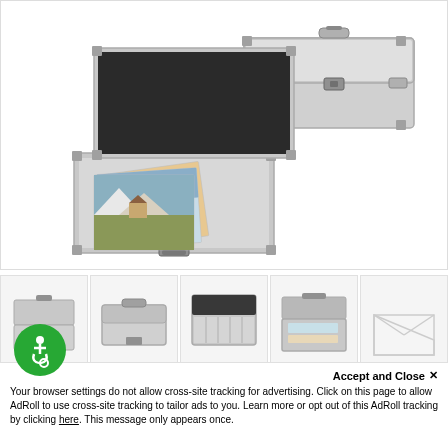[Figure (photo): Two aluminum/silver storage cases (postcard boxes) shown open with postcards/photos inside. One smaller case open in foreground, one larger case open in background right.]
[Figure (photo): Thumbnail 1: Two stacked closed silver storage cases]
[Figure (photo): Thumbnail 2: Single closed silver storage case from above]
[Figure (photo): Thumbnail 3: Open silver storage case interior with dividers]
[Figure (photo): Thumbnail 4: Open silver storage case with contents]
[Figure (photo): Thumbnail 5: Partially visible envelope/paper illustration]
Accept and Close ×
Your browser settings do not allow cross-site tracking for advertising. Click on this page to allow AdRoll to use cross-site tracking to tailor ads to you. Learn more or opt out of this AdRoll tracking by clicking here. This message only appears once.